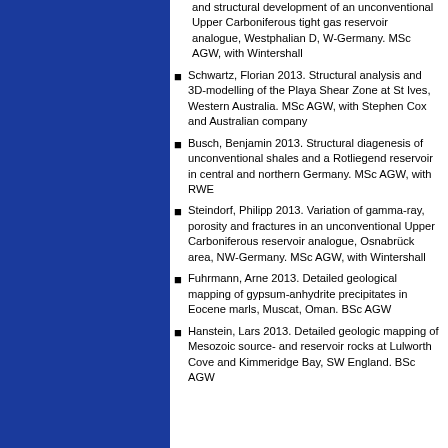and structural development of an unconventional Upper Carboniferous tight gas reservoir analogue, Westphalian D, W-Germany. MSc AGW, with Wintershall
Schwartz, Florian 2013. Structural analysis and 3D-modelling of the Playa Shear Zone at St Ives, Western Australia. MSc AGW, with Stephen Cox and Australian company
Busch, Benjamin 2013. Structural diagenesis of unconventional shales and a Rotliegend reservoir in central and northern Germany. MSc AGW, with RWE
Steindorf, Philipp 2013. Variation of gamma-ray, porosity and fractures in an unconventional Upper Carboniferous reservoir analogue, Osnabrück area, NW-Germany. MSc AGW, with Wintershall
Fuhrmann, Arne 2013. Detailed geological mapping of gypsum-anhydrite precipitates in Eocene marls, Muscat, Oman. BSc AGW
Hanstein, Lars 2013. Detailed geologic mapping of Mesozoic source- and reservoir rocks at Lulworth Cove and Kimmeridge Bay, SW England. BSc AGW